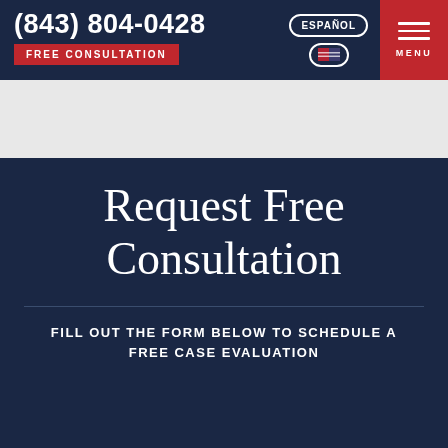(843) 804-0428
FREE CONSULTATION
ESPAÑOL
MENU
[Figure (screenshot): White/light grey hero area placeholder]
Request Free Consultation
FILL OUT THE FORM BELOW TO SCHEDULE A FREE CASE EVALUATION